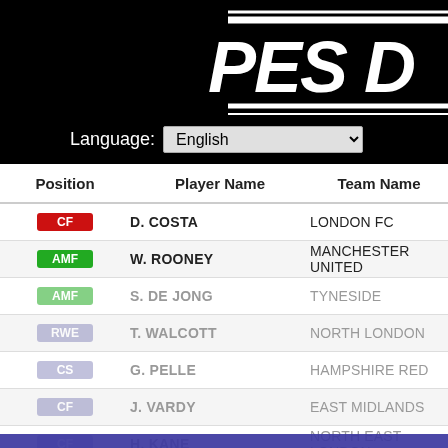[Figure (logo): PES Database logo, stylized italic text in white with black background and diagonal stripes]
Language: English
| Position | Player Name | Team Name |
| --- | --- | --- |
| CF | D. COSTA | LONDON FC |
| AMF | W. ROONEY | MANCHESTER UNITED |
| AMF | S. DE JONG | TYNESIDE |
| RWE | T. WALCOTT | NORTH LONDON |
| CS | G. PELLE | HAMPSHIRE RED |
| CF | J. VARDY | EAST MIDLANDS |
| CF | H. KANE | NORTH EAST LONDON |
| LMF | N. CHADLI | NORTH EAST LONDON |
| CF | D. INGS | MERSEYSIDE RED |
| CF | S. LONG | HAMPSHIRE RED |
| CF | C. AUSTIN | HAMPSHIRE RED |
This website uses cookies to ensure you get the best experience on our website.
Learn more
Got it!